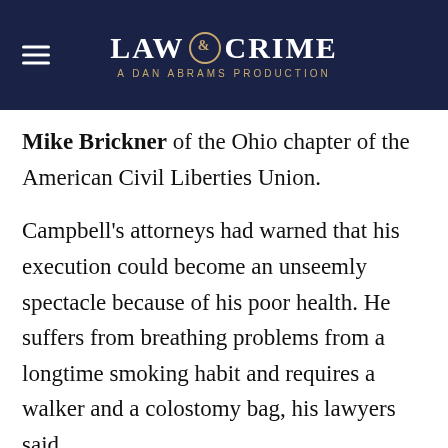LAW & CRIME — A DAN ABRAMS PRODUCTION
Mike Brickner of the Ohio chapter of the American Civil Liberties Union.
Campbell's attorneys had warned that his execution could become an unseemly spectacle because of his poor health. He suffers from breathing problems from a longtime smoking habit and requires a walker and a colostomy bag, his lawyers said.
On Wednesday, he was brought into the death chamber in a wheelchair, lifted onto the gurney by three men and given a wedge-shaped pillow to help him breathe in the chamber from the oxygen...